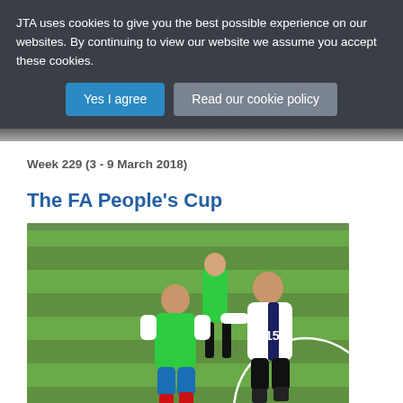JTA uses cookies to give you the best possible experience on our websites. By continuing to view our website we assume you accept these cookies.
Yes I agree | Read our cookie policy
Week 229 (3 - 9 March 2018)
The FA People's Cup
[Figure (photo): Football players on an outdoor astroturf pitch. A player in a green bib and blue shorts is challenging a player in a white and dark navy kit with number 15 on the back. Another player in green is visible in the background.]